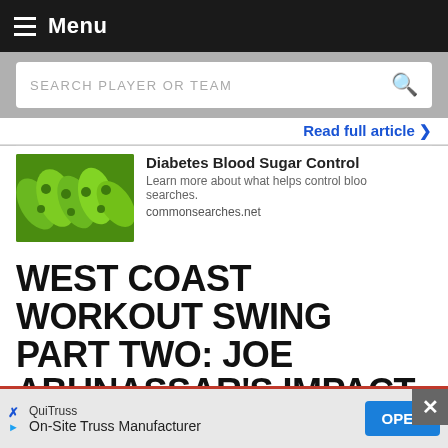Menu
[Figure (screenshot): Search bar with placeholder text SEARCH PLAYER OR TEAM and a red magnifying glass icon]
Read full article ⓥ
[Figure (photo): Advertisement card: photo of bitter melon (green bumpy vegetables), with title 'Diabetes Blood Sugar Control', description 'Learn more about what helps control blood sugar with common searches.', and URL 'commonsearches.net']
WEST COAST WORKOUT SWING PART TWO: JOE ABUNASSAR'S IMPACT BASKETBALL
[Figure (screenshot): Bottom ad banner: QuiTruss - On-Site Truss Manufacturer with OPEN button and close X button]